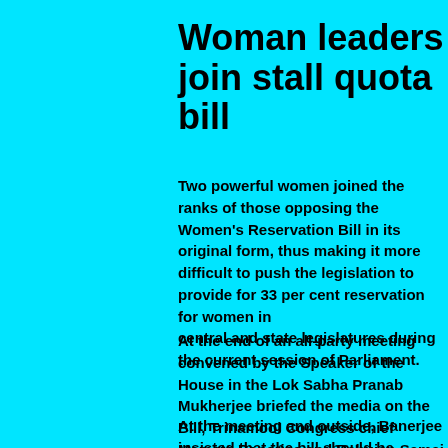Woman leaders join stall quota bill
Two powerful women joined the ranks of those opposing the Women's Reservation Bill in its original form, thus making it more difficult to push the legislation to provide for 33 per cent reservation for women in central and state legislatures during the current session of Parliament.
At the end of an all-party meeting convened by the Speaker of the House in the Lok Sabha Pranab Mukherjee briefed the media on the Bill, Trinamool Congress chief Mamata Banerjee and Bahujan Samaj Party supremo Mayawati made certain suggestions that could jeopardise the fate of the gender empowerment legislation.
At the meeting and outside, Banerjee insisted that the bill should be...